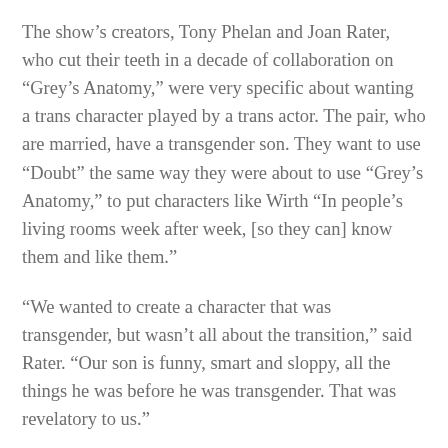The show’s creators, Tony Phelan and Joan Rater, who cut their teeth in a decade of collaboration on “Grey’s Anatomy,” were very specific about wanting a trans character played by a trans actor. The pair, who are married, have a transgender son. They want to use “Doubt” the same way they were about to use “Grey’s Anatomy,” to put characters like Wirth “In people’s living rooms week after week, [so they can] know them and like them.”
“We wanted to create a character that was transgender, but wasn’t all about the transition,” said Rater. “Our son is funny, smart and sloppy, all the things he was before he was transgender. That was revelatory to us.”
Cox, too, has been outspoken before about how trans people should not be reduced to the stories of their transitions. She’s very private about her own, while being utterly accessible in most of her life…